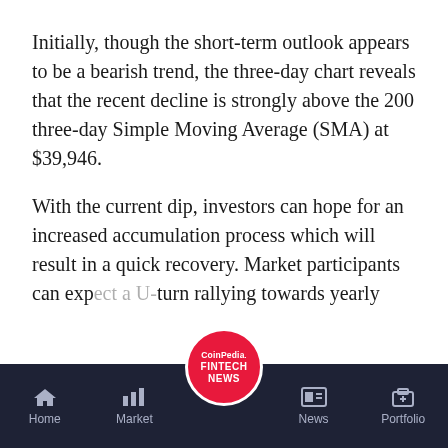Initially, though the short-term outlook appears to be a bearish trend, the three-day chart reveals that the recent decline is strongly above the 200 three-day Simple Moving Average (SMA) at $39,946.
With the current dip, investors can hope for an increased accumulation process which will result in a quick recovery. Market participants can expect a U-turn rallying towards yearly
Home | Market | CoinPedia FINTECH NEWS | News | Portfolio